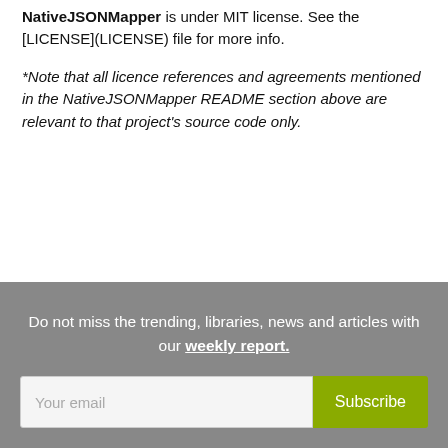NativeJSONMapper is under MIT license. See the [LICENSE](LICENSE) file for more info.
*Note that all licence references and agreements mentioned in the NativeJSONMapper README section above are relevant to that project's source code only.
Do not miss the trending, libraries, news and articles with our weekly report.
Your email
Subscribe